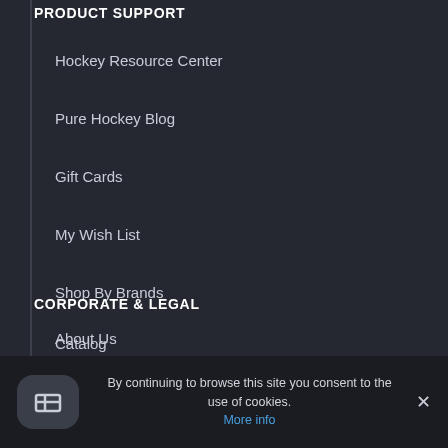PRODUCT SUPPORT
Hockey Resource Center
Pure Hockey Blog
Gift Cards
My Wish List
Shop By Brands
Catalog
Shop Pure Goalie
CORPORATE & LEGAL
About Us
rs
ate Program
By continuing to browse this site you consent to the use of cookies. More info